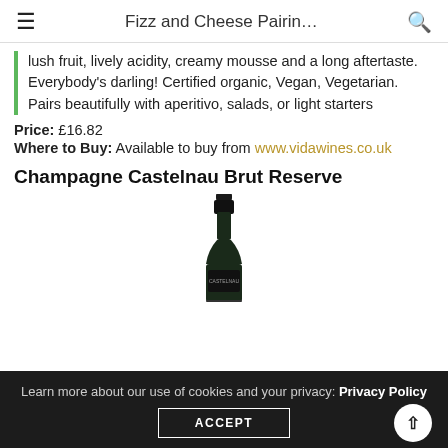Fizz and Cheese Pairin…
lush fruit, lively acidity, creamy mousse and a long aftertaste. Everybody's darling! Certified organic, Vegan, Vegetarian. Pairs beautifully with aperitivo, salads, or light starters
Price: £16.82
Where to Buy: Available to buy from www.vidawines.co.uk
Champagne Castelnau Brut Reserve
[Figure (photo): A dark bottle of Champagne Castelnau Brut Reserve, showing the neck and upper body of the bottle against a white background.]
Learn more about our use of cookies and your privacy: Privacy Policy